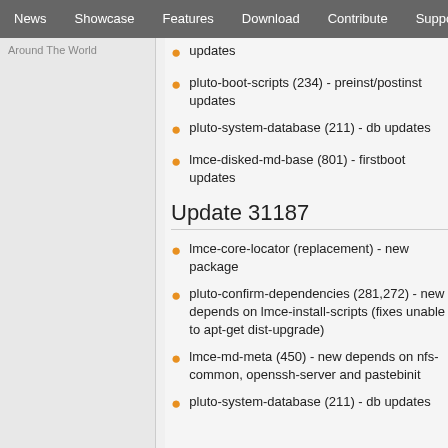News | Showcase | Features | Download | Contribute | Support
Around The World
updates
pluto-boot-scripts (234) - preinst/postinst updates
pluto-system-database (211) - db updates
lmce-disked-md-base (801) - firstboot updates
Update 31187
lmce-core-locator (replacement) - new package
pluto-confirm-dependencies (281,272) - new depends on lmce-install-scripts (fixes unable to apt-get dist-upgrade)
lmce-md-meta (450) - new depends on nfs-common, openssh-server and pastebinit
pluto-system-database (211) - db updates